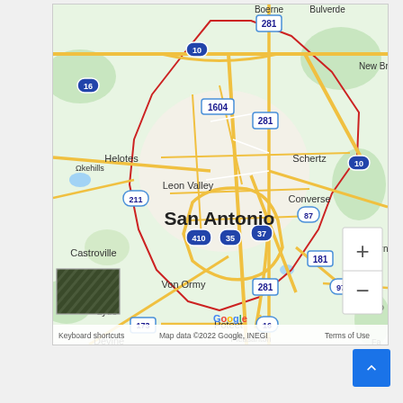[Figure (map): Google Maps screenshot showing San Antonio, Texas and surrounding areas including Helotes, Leon Valley, Schertz, Converse, Castroville, Von Ormy, Lytle, Devine, Poteet, and other communities. A red boundary outline marks the San Antonio city limits. Major highways visible include I-10, I-35, I-37, Loop 410, US-281, US-87, US-181, TX-16, TX-173, TX-97, Loop 1604, and TX-211. Map data ©2022 Google, INEGI.]